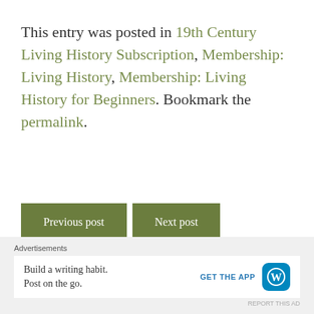This entry was posted in 19th Century Living History Subscription, Membership: Living History, Membership: Living History for Beginners. Bookmark the permalink.
Previous post | Next post
Leave a Reply
Advertisements
Build a writing habit. Post on the go. GET THE APP